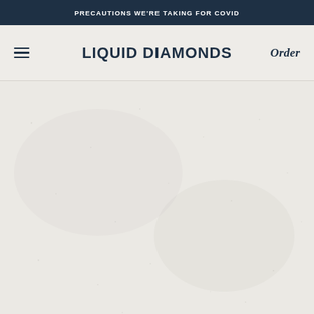PRECAUTIONS WE'RE TAKING FOR COVID
LIQUID DIAMONDS
Order
[Figure (other): Empty textured light gray/beige background area below the navigation bar, serving as the hero/main content area of the website.]